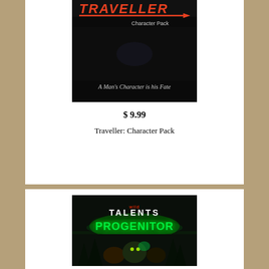[Figure (photo): Book cover for Traveller: Character Pack — dark/black background with orange-red 'TRAVELLER' text at top with orange underline arrow, 'Character Pack' subtitle in white, and 'A Man's Character is his Fate' text at bottom in white]
$ 9.99
Traveller: Character Pack
[Figure (photo): Book cover for Wild Talents: Progenitor — dark background with forest/snow scene, green glowing 'PROGENITOR' text in center, 'wild' and 'TALENTS' text above, figures in foreground with glowing effects]